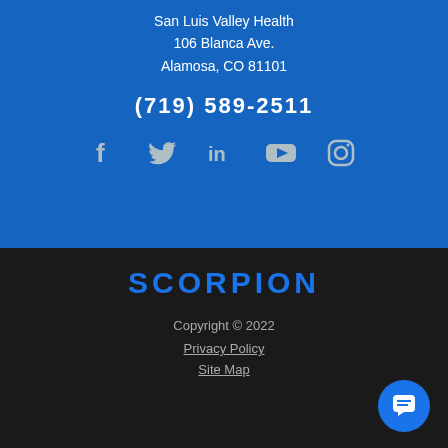San Luis Valley Health
106 Blanca Ave.
Alamosa, CO 81101
(719) 589-2511
[Figure (illustration): Social media icons: Facebook, Twitter, LinkedIn, YouTube, Instagram]
[Figure (logo): Scorpion logo in blue text on dark background]
Copyright © 2022
Privacy Policy
Site Map
[Figure (illustration): Blue circular chat button with message icon]